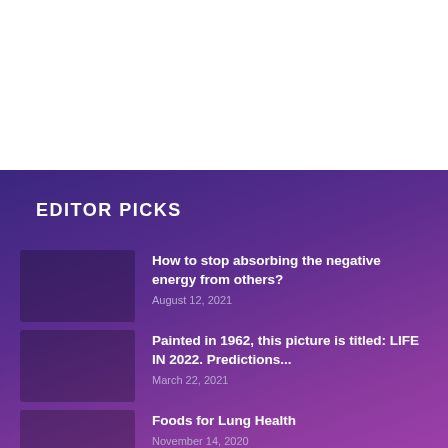EDITOR PICKS
How to stop absorbing the negative energy from others?
August 12, 2021
Painted in 1962, this picture is titled: LIFE IN 2022. Predictions...
March 22, 2021
Foods for Lung Health
November 14, 2020